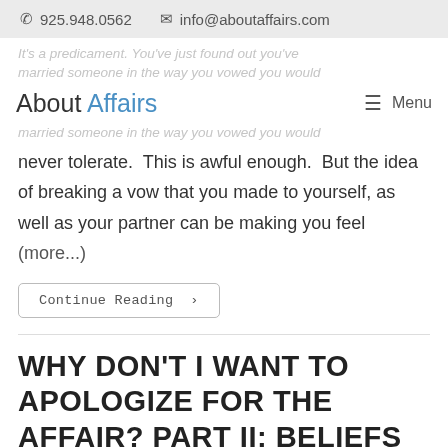925.948.0562   info@aboutaffairs.com
It's a predicament. You've just found out you've married someone in the way you vowed you would never tolerate.
About Affairs
never tolerate.  This is awful enough.  But the idea of breaking a vow that you made to yourself, as well as your partner can be making you feel (more...)
Continue Reading ›
WHY DON'T I WANT TO APOLOGIZE FOR THE AFFAIR? PART II: BELIEFS
Some Recent   10 Comments